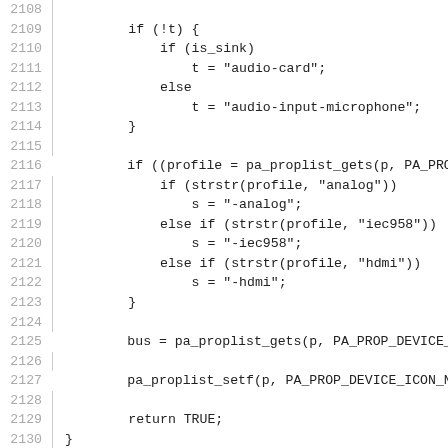Source code listing, lines 2108–2137, showing C code with if/else, pa_proplist_gets, pa_proplist_setf, pa_device_init_description function.